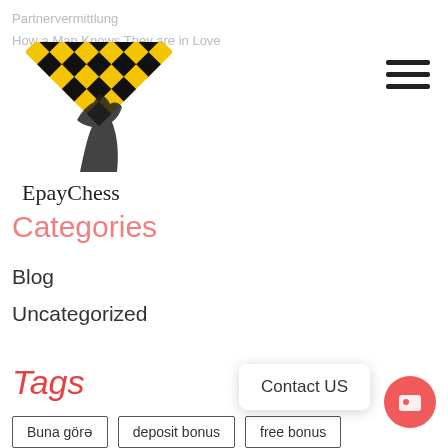Partnervermittlung
How a Man Knows They are in Love
[Figure (logo): EpayChess logo: yellow and black checkered diamond shape with chess knight silhouette, text 'EpayChess' below]
Categories
Blog
Uncategorized
Tags
Buna görə
deposit bonus
free bonus
gamebooker
gamebookers
gamebookers com mobile
Contact US